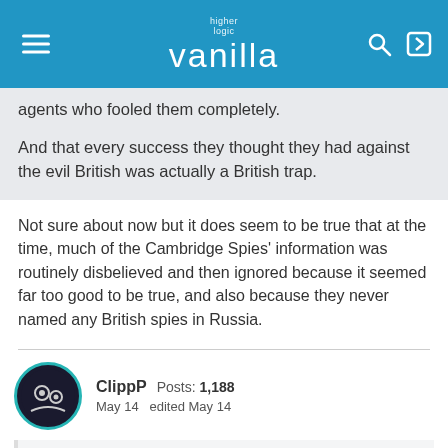higher logic vanilla
agents who fooled them completely.

And that every success they thought they had against the evil British was actually a British trap.
Not sure about now but it does seem to be true that at the time, much of the Cambridge Spies' information was routinely disbelieved and then ignored because it seemed far too good to be true, and also because they never named any British spies in Russia.
ClippP  Posts: 1,188  May 14  edited May 14
StillWaters said: